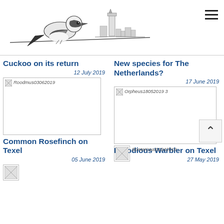[Figure (illustration): Bird (shrike) perched on a branch with a lighthouse and town skyline in the background, ink drawing style logo]
Cuckoo on its return
12 July 2019
New species for The Netherlands?
17 June 2019
[Figure (photo): Roodmus03062019 - image placeholder]
[Figure (photo): Orpheus18052019 3 - image placeholder]
Common Rosefinch on Texel
05 June 2019
Melodious Warbler on Texel
27 May 2019
[Figure (photo): Thumbnail image bottom left]
[Figure (photo): BonteKraai0104 2019 - image placeholder bottom right]